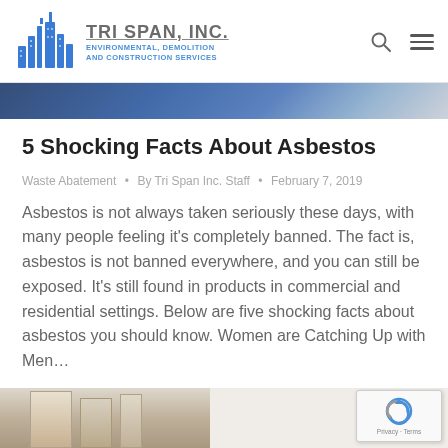TRI SPAN, INC. — ENVIRONMENTAL, DEMOLITION AND CONSTRUCTION SERVICES
5 Shocking Facts About Asbestos
Waste Abatement • By Tri Span Inc. Staff • February 7, 2019
Asbestos is not always taken seriously these days, with many people feeling it's completely banned. The fact is, asbestos is not banned everywhere, and you can still be exposed. It's still found in products in commercial and residential settings. Below are five shocking facts about asbestos you should know. Women are Catching Up with Men...
[Figure (photo): Bottom strip with partial photo of interior/building scene and reCAPTCHA badge]